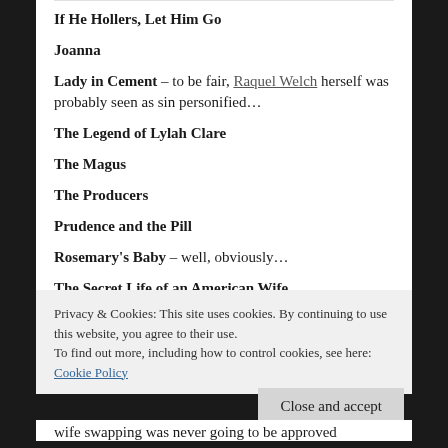If He Hollers, Let Him Go
Joanna
Lady in Cement – to be fair, Raquel Welch herself was probably seen as sin personified…
The Legend of Lylah Clare
The Magus
The Producers
Prudence and the Pill
Rosemary's Baby – well, obviously…
The Secret Life of an American Wife
The Sweet Ride
Privacy & Cookies: This site uses cookies. By continuing to use this website, you agree to their use.
To find out more, including how to control cookies, see here: Cookie Policy
Close and accept
wife swapping was never going to be approved